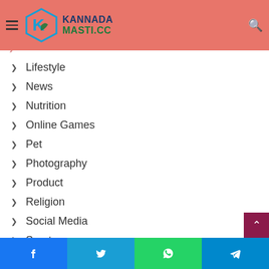Kannada Masti .cc - Navigation menu
Games
Entertainment
Lifestyle
News
Nutrition
Online Games
Pet
Photography
Product
Religion
Social Media
Sports
Style
Facebook Twitter WhatsApp Telegram